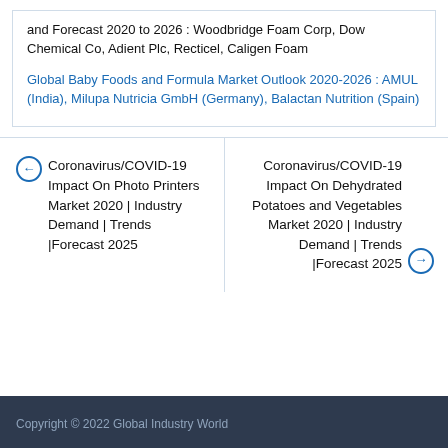and Forecast 2020 to 2026 : Woodbridge Foam Corp, Dow Chemical Co, Adient Plc, Recticel, Caligen Foam
Global Baby Foods and Formula Market Outlook 2020-2026 : AMUL (India), Milupa Nutricia GmbH (Germany), Balactan Nutrition (Spain)
← Coronavirus/COVID-19 Impact On Photo Printers Market 2020 | Industry Demand | Trends |Forecast 2025
Coronavirus/COVID-19 Impact On Dehydrated Potatoes and Vegetables Market 2020 | Industry Demand | Trends |Forecast 2025 →
Copyright © 2022 Global Industry World